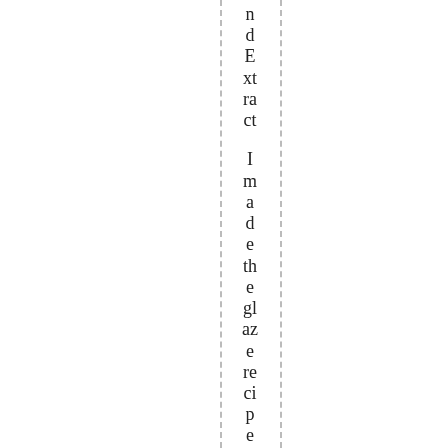ndExtract I made the glaze recipe like it was